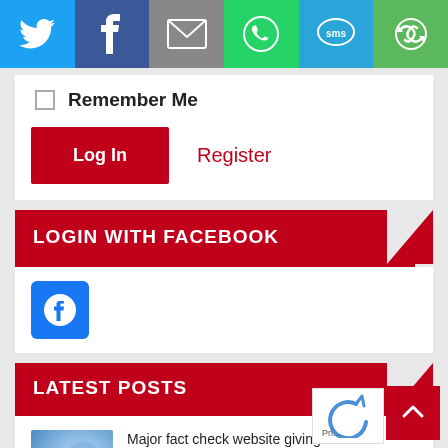[Figure (infographic): Social share bar with Twitter (blue), Facebook (dark blue), Email (grey), WhatsApp (green), SMS (light blue), and a circular arrows icon (green)]
Remember Me (checkbox)
Log In button and Register link
LOGIN WITH FACEBOOK
[Figure (logo): Facebook logo icon — white 'f' in circle on blue square background]
LATEST POSTS
[Figure (photo): Thumbnail image with blue/purple blurry background and green leaf detail]
Major fact check website giving fake information
7 months ago  No Comments